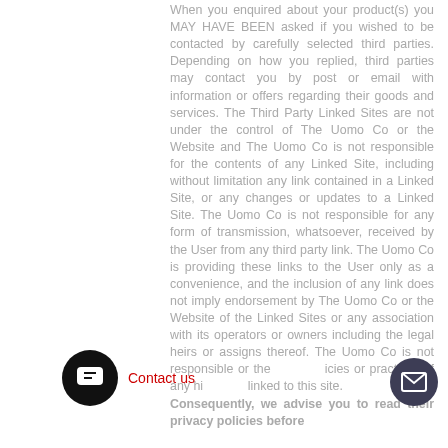When you enquired about your product(s) you MAY HAVE BEEN asked if you wished to be contacted by carefully selected third parties. Depending on how you replied, third parties may contact you by post or email with information or offers regarding their goods and services. The Third Party Linked Sites are not under the control of The Uomo Co or the Website and The Uomo Co is not responsible for the contents of any Linked Site, including without limitation any link contained in a Linked Site, or any changes or updates to a Linked Site. The Uomo Co is not responsible for any form of transmission, whatsoever, received by the User from any third party link. The Uomo Co is providing these links to the User only as a convenience, and the inclusion of any link does not imply endorsement by The Uomo Co or the Website of the Linked Sites or any association with its operators or owners including the legal heirs or assigns thereof. The Uomo Co is not responsible or the policies or practices of any hi linked to this site. Consequently, we advise you to read their privacy policies before